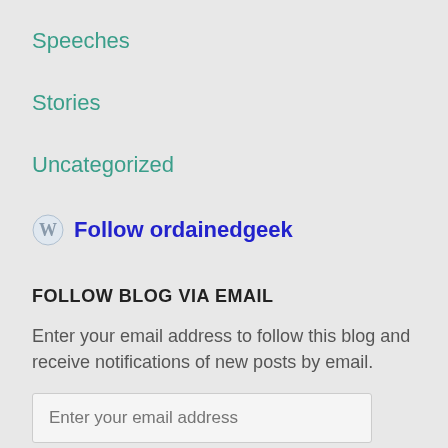Speeches
Stories
Uncategorized
Follow ordainedgeek
FOLLOW BLOG VIA EMAIL
Enter your email address to follow this blog and receive notifications of new posts by email.
Enter your email address